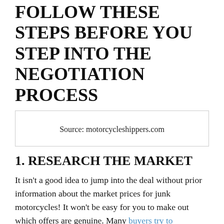FOLLOW THESE STEPS BEFORE YOU STEP INTO THE NEGOTIATION PROCESS
[Figure (other): Box with source attribution: Source: motorcycleshippers.com]
1. RESEARCH THE MARKET
It isn't a good idea to jump into the deal without prior information about the market prices for junk motorcycles! It won't be easy for you to make out which offers are genuine. Many buyers try to manipulate the owners with fake costs. However, a proper understanding of the industry will help you identify such buyers. Then, you can easily match the offers with the actual value of your junk motorcycle.
Some websites provide you with a free valuation for your junk motorcycle. You simply have to fill in some details, and